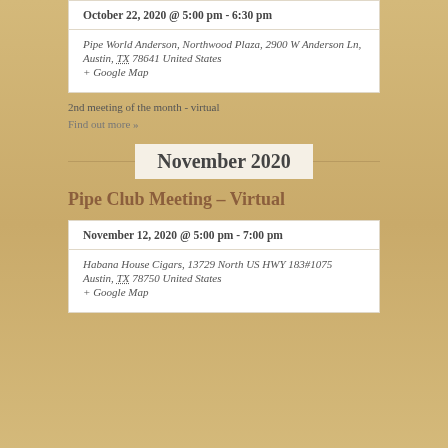October 22, 2020 @ 5:00 pm - 6:30 pm
Pipe World Anderson, Northwood Plaza, 2900 W Anderson Ln, Austin, TX 78641 United States
+ Google Map
2nd meeting of the month - virtual
Find out more »
November 2020
Pipe Club Meeting – Virtual
November 12, 2020 @ 5:00 pm - 7:00 pm
Habana House Cigars, 13729 North US HWY 183#1075 Austin, TX 78750 United States
+ Google Map